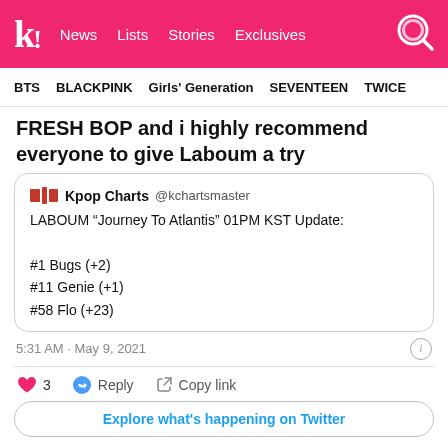k! News  Lists  Stories  Exclusives
BTS  BLACKPINK  Girls' Generation  SEVENTEEN  TWICE
FRESH BOP and i highly recommend everyone to give Laboum a try
Kpop Charts @kchartsmaster
LABOUM “Journey To Atlantis” 01PM KST Update:

#1 Bugs (+2)
#11 Genie (+1)
#58 Flo (+23)
5:31 AM · May 9, 2021
3  Reply  Copy link
Explore what’s happening on Twitter